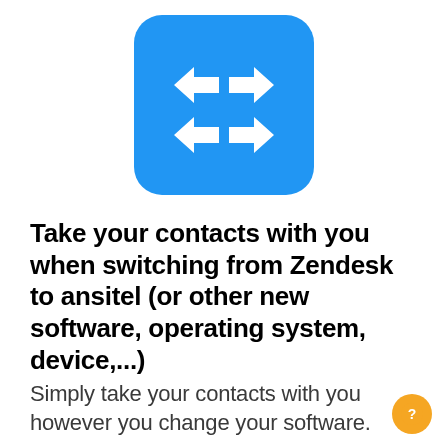[Figure (illustration): Blue rounded square icon with two left-pointing white arrows and two right-pointing white arrows, representing contact transfer/switching between platforms.]
Take your contacts with you when switching from Zendesk to ansitel (or other new software, operating system, device,...)
Simply take your contacts with you however you change your software.